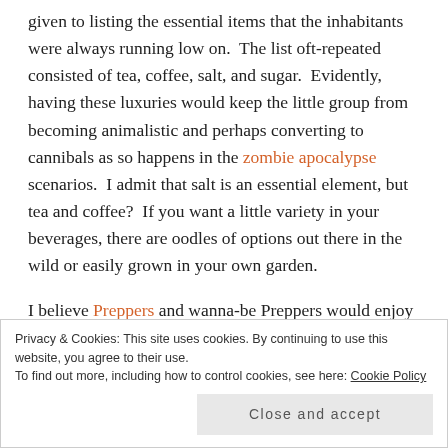given to listing the essential items that the inhabitants were always running low on.  The list oft-repeated consisted of tea, coffee, salt, and sugar.  Evidently, having these luxuries would keep the little group from becoming animalistic and perhaps converting to cannibals as so happens in the zombie apocalypse scenarios.  I admit that salt is an essential element, but tea and coffee?  If you want a little variety in your beverages, there are oodles of options out there in the wild or easily grown in your own garden.
I believe Preppers and wanna-be Preppers would enjoy
Privacy & Cookies: This site uses cookies. By continuing to use this website, you agree to their use.
To find out more, including how to control cookies, see here: Cookie Policy

Close and accept